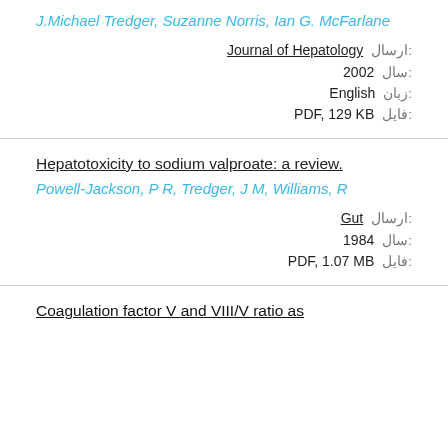J.Michael Tredger, Suzanne Norris, Ian G. McFarlane
ارسال: Journal of Hepatology
سال: 2002
زبان: English
فایل: PDF, 129 KB
Hepatotoxicity to sodium valproate: a review.
Powell-Jackson, P R, Tredger, J M, Williams, R
ارسال: Gut
سال: 1984
فایل: PDF, 1.07 MB
Coagulation factor V and VIII/V ratio as